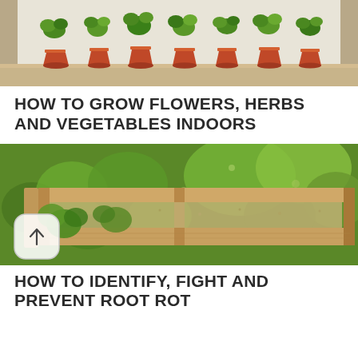[Figure (photo): Row of terracotta pots with green herbs and plants on a shelf in front of a window]
HOW TO GROW FLOWERS, HERBS AND VEGETABLES INDOORS
[Figure (photo): Wooden raised garden bed with green leafy plants and a scroll-to-top button overlay]
HOW TO IDENTIFY, FIGHT AND PREVENT ROOT ROT